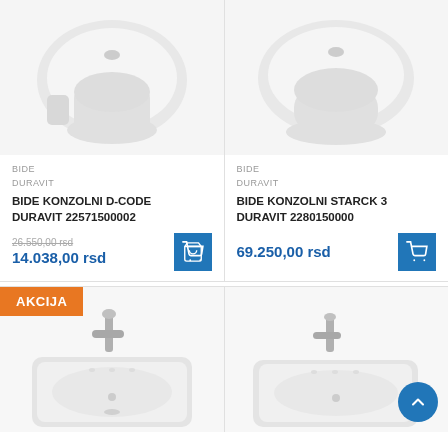[Figure (photo): Wall-hung bidet, white ceramic, BIDE KONZOLNI D-CODE DURAVIT 22571500002]
BIDE
DURAVIT
BIDE KONZOLNI D-CODE DURAVIT 22571500002
26.550,00 rsd
14.038,00 rsd
[Figure (photo): Wall-hung bidet, white ceramic, BIDE KONZOLNI STARCK 3 DURAVIT 2280150000]
BIDE
DURAVIT
BIDE KONZOLNI STARCK 3 DURAVIT 2280150000
69.250,00 rsd
[Figure (photo): Wall-hung bidet with faucet, AKCIJA badge, white ceramic]
[Figure (photo): Wall-hung bidet with faucet, white ceramic]